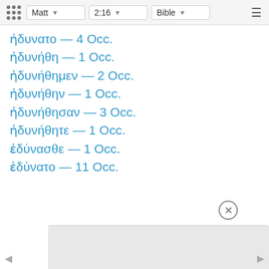Matt | 2:16 | Bible
ηδυνατο — 4 Occ.
ηδυνηθη — 1 Occ.
ηδυνηθημεν — 2 Occ.
ηδυνηθην — 1 Occ.
ηδυνηθησαν — 3 Occ.
ηδυνηθητε — 1 Occ.
εδυνασθε — 1 Occ.
εδυνατο — 11 Occ.